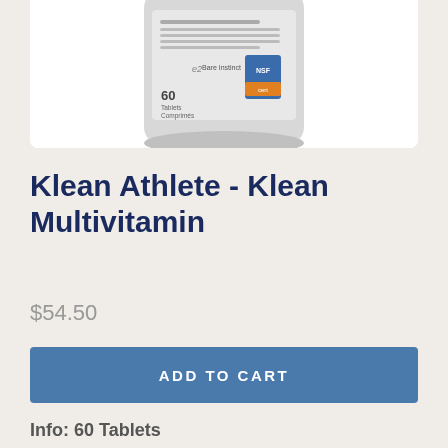[Figure (photo): Partial view of Klean Athlete Klean Multivitamin supplement bottle (white/gray bottle showing 60 Tablets label), cropped at top]
Klean Athlete - Klean Multivitamin
$54.50
ADD TO CART
Info: 60 Tablets